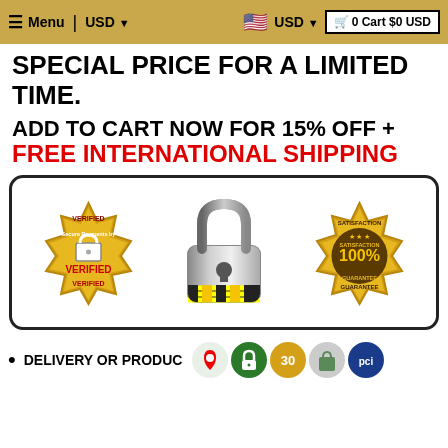≡ Menu | USD ▾  🇺🇸 USD ▾  🛒 0 Cart $0 USD
SPECIAL PRICE FOR A LIMITED TIME.
ADD TO CART NOW FOR 15% OFF + FREE INTERNATIONAL SHIPPING
[Figure (infographic): Trust badges box with three icons: Verified Secure Payments badge (gold coin), a padlock security icon, and a 100% Satisfaction Guarantee gold seal badge.]
DELIVERY OR PRODUC... [followed by small app/payment icons]